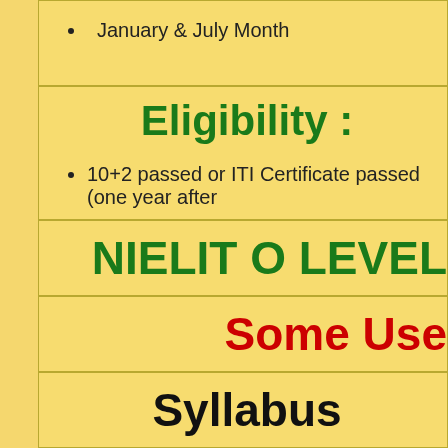January & July Month
Eligibility :
10+2 passed or ITI Certificate passed (one year after
NIELIT O LEVEL
Some Use
Syllabus